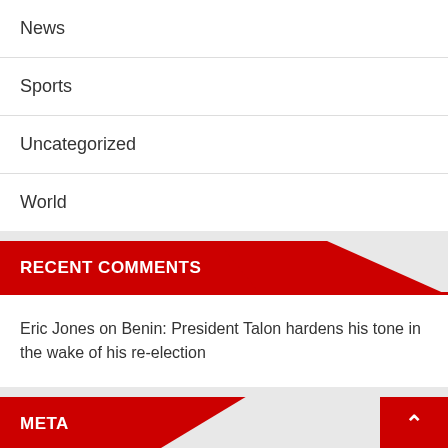News
Sports
Uncategorized
World
RECENT COMMENTS
Eric Jones on Benin: President Talon hardens his tone in the wake of his re-election
META